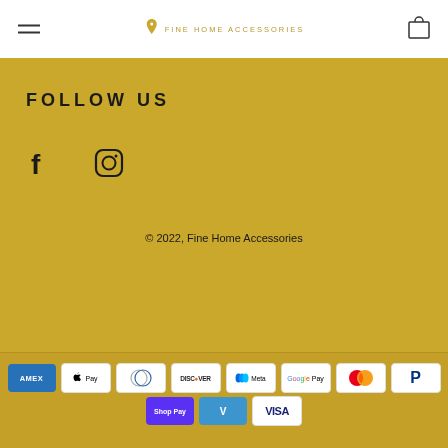Fine Home Accessories
FOLLOW US
[Figure (illustration): Facebook and Instagram social media icons]
© 2022, Fine Home Accessories
[Figure (illustration): Payment method icons: American Express, Apple Pay, Diners Club, Discover, Meta Pay, Google Pay, Mastercard, PayPal, Shop Pay, Venmo, Visa]